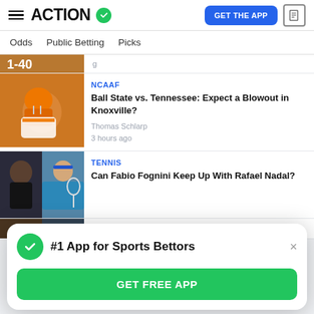ACTION — GET THE APP
Odds  Public Betting  Picks
[Figure (photo): Partially visible football player image at top]
NCAAF
Ball State vs. Tennessee: Expect a Blowout in Knoxville?
Thomas Schlarp
3 hours ago
[Figure (photo): Two tennis players collage image]
TENNIS
Can Fabio Fognini Keep Up With Rafael Nadal?
#1 App for Sports Bettors
GET FREE APP
[Figure (photo): Partially visible image at bottom]